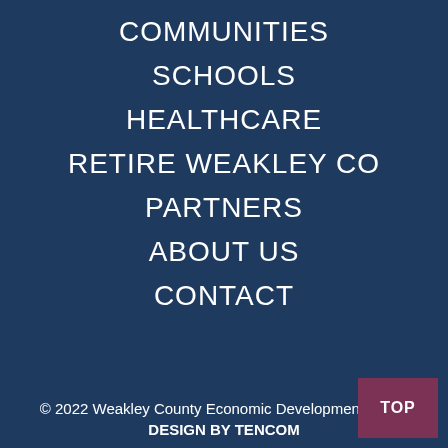COMMUNITIES
SCHOOLS
HEALTHCARE
RETIRE WEAKLEY CO
PARTNERS
ABOUT US
CONTACT
© 2022 Weakley County Economic Development Board
DESIGN BY TENCOM